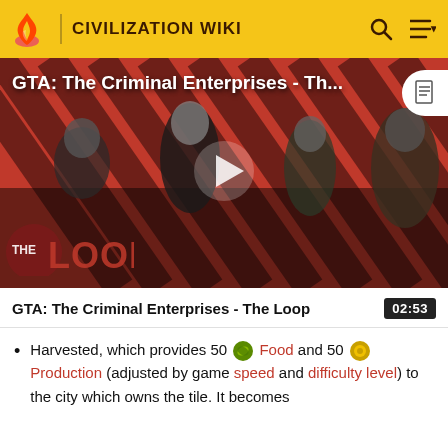CIVILIZATION WIKI
[Figure (screenshot): Video thumbnail showing GTA: The Criminal Enterprises - The Loop with game characters on a red striped background. Play button in center. 'THE LOOP' logo at bottom left.]
GTA: The Criminal Enterprises - The Loop  02:53
Harvested, which provides 50 Food and 50 Production (adjusted by game speed and difficulty level) to the city which owns the tile. It becomes